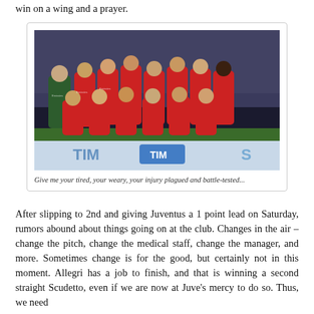win on a wing and a prayer.
[Figure (photo): AC Milan football team squad photo posed on a pitch in front of a stadium crowd, wearing red and black striped jerseys with Emirates sponsor, with a TIM advertising board visible below]
Give me your tired, your weary, your injury plagued and battle-tested...
After slipping to 2nd and giving Juventus a 1 point lead on Saturday, rumors abound about things going on at the club. Changes in the air – change the pitch, change the medical staff, change the manager, and more. Sometimes change is for the good, but certainly not in this moment. Allegri has a job to finish, and that is winning a second straight Scudetto, even if we are now at Juve's mercy to do so. Thus, we need